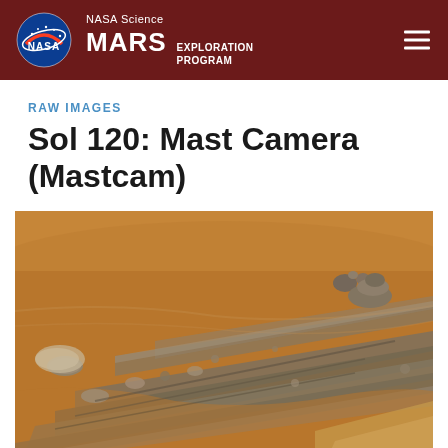NASA Science MARS EXPLORATION PROGRAM
RAW IMAGES
Sol 120: Mast Camera (Mastcam)
[Figure (photo): Mars surface photograph showing reddish-brown rocky terrain with layered sedimentary rock formations, scattered stones and pebbles on sandy soil, taken by the Mast Camera (Mastcam) on Sol 120 of the Mars Science Laboratory mission.]